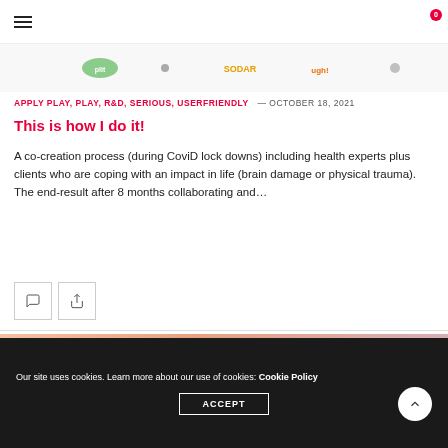Navigation bar with hamburger menu, search icon, and shopping bag icon (0 items)
[Figure (illustration): Colorful image strip showing partial view of colorful logos/graphics]
APPLY PLAY, PLAY, R&D, SERIOUS, USERFRIENDLY — OCTOBER 18, 2021
This is how I do it!
A co-creation process (during CoviD lock downs) including health experts plus clients who are coping with an impact in life (brain damage or physical trauma). The end-result after 8 months collaborating and…
[Figure (illustration): Two action buttons: comment icon and share icon]
[Figure (photo): Partial view of next post image preview with warm/orange tones]
Our site uses cookies. Learn more about our use of cookies: Cookie Policy
ACCEPT